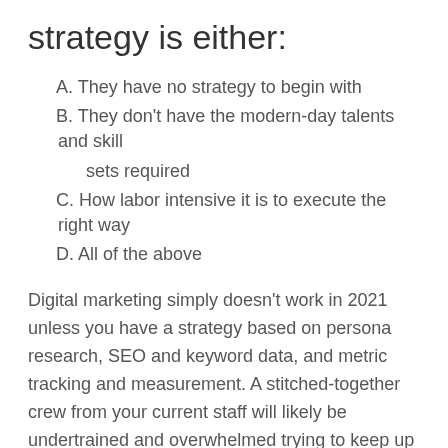strategy is either:
A. They have no strategy to begin with
B. They don't have the modern-day talents and skill sets required
C. How labor intensive it is to execute the right way
D. All of the above
Digital marketing simply doesn't work in 2021 unless you have a strategy based on persona research, SEO and keyword data, and metric tracking and measurement. A stitched-together crew from your current staff will likely be undertrained and overwhelmed trying to keep up with modern best practices.
That's why you need a content